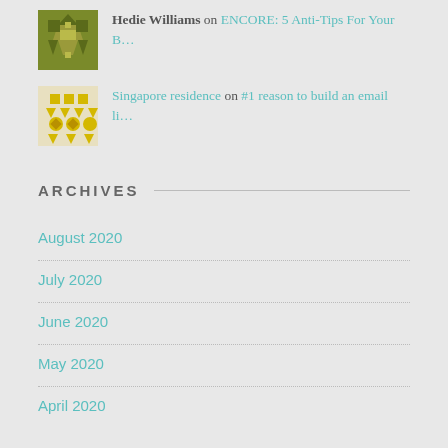Hedie Williams on ENCORE: 5 Anti-Tips For Your B…
Singapore residence on #1 reason to build an email li…
ARCHIVES
August 2020
July 2020
June 2020
May 2020
April 2020